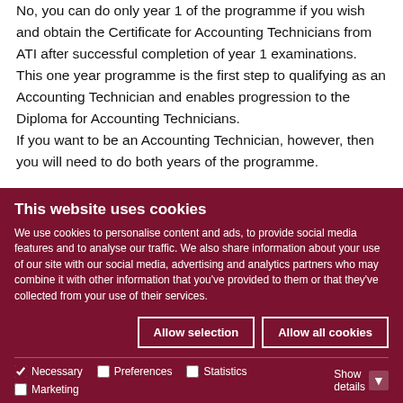No, you can do only year 1 of the programme if you wish and obtain the Certificate for Accounting Technicians from ATI after successful completion of year 1 examinations. This one year programme is the first step to qualifying as an Accounting Technician and enables progression to the Diploma for Accounting Technicians.
If you want to be an Accounting Technician, however, then you will need to do both years of the programme.
This website uses cookies
We use cookies to personalise content and ads, to provide social media features and to analyse our traffic. We also share information about your use of our site with our social media, advertising and analytics partners who may combine it with other information that you've provided to them or that they've collected from your use of their services.